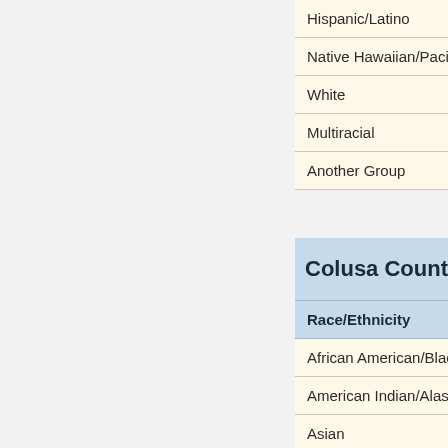| Race/Ethnicity |
| --- |
| Hispanic/Latino |
| Native Hawaiian/Pacific I... |
| White |
| Multiracial |
| Another Group |
| Colusa County | Race/Ethnicity |
| --- | --- |
| African American/Black |
| American Indian/Alaska N... |
| Asian |
| Hispanic/Latino |
| Native Hawaiian/Pacific I... |
| White |
| Multiracial |